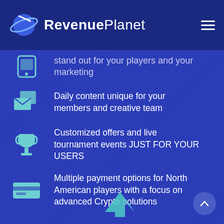RevenuePlanet
stand out for your players and your marketing
Daily content unique for your members and creative team
Customized offers and live tournament events JUST FOR YOUR USERS
Multiple payment options for North American players with a focus on advanced Crypto solutions